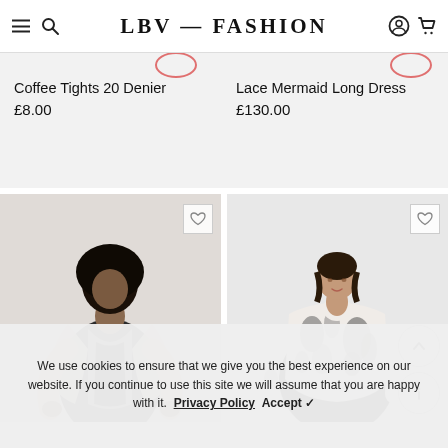LBV — FASHION
Coffee Tights 20 Denier
£8.00
Lace Mermaid Long Dress
£130.00
[Figure (photo): Woman wearing beige/cream open-front blazer over black outfit]
[Figure (photo): Woman wearing black and white printed blouse]
We use cookies to ensure that we give you the best experience on our website. If you continue to use this site we will assume that you are happy with it. Privacy Policy   Accept ✓